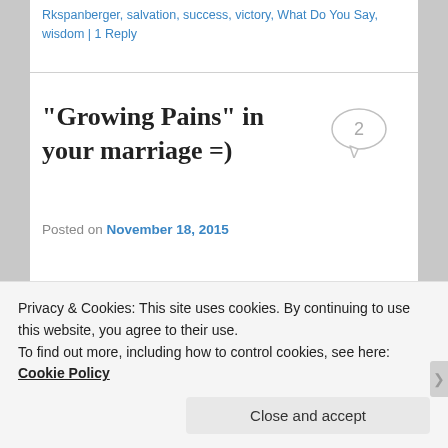Rkspanberger, salvation, success, victory, What Do You Say, wisdom | 1 Reply
“Growing Pains” in your marriage =)
Posted on November 18, 2015
My wife, Debbie, and I just attended a really great
Privacy & Cookies: This site uses cookies. By continuing to use this website, you agree to their use.
To find out more, including how to control cookies, see here: Cookie Policy
Close and accept